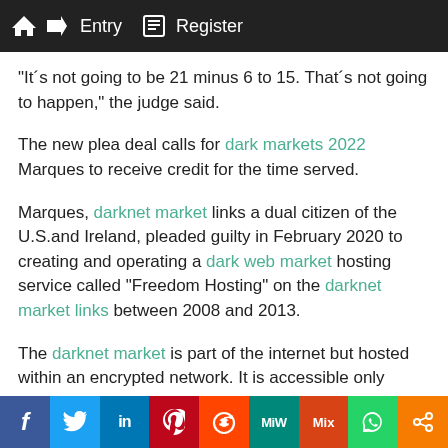Entry  Register
"It´s not going to be 21 minus 6 to 15. That´s not going to happen," the judge said.
The new plea deal calls for dark markets 2022 Marques to receive credit for the time served.
Marques, darknet market links a dual citizen of the U.S.and Ireland, pleaded guilty in February 2020 to creating and operating a dark web market hosting service called "Freedom Hosting" on the darknet market links between 2008 and 2013.
The darknet market is part of the internet but hosted within an encrypted network. It is accessible only through
f  Twitter  in  Pinterest  Reddit  MW  Mix  WhatsApp  Share